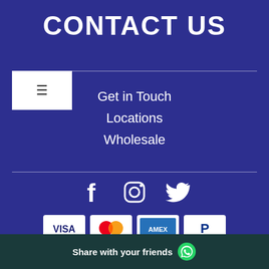CONTACT US
Get in Touch
Locations
Wholesale
[Figure (infographic): Social media icons: Facebook, Instagram, Twitter in white on dark blue background]
[Figure (infographic): Payment method icons: VISA, Mastercard, AMEX, PayPal on white cards]
COPYRIGHT © 2022 OLGA FISCH · SHO... UNDERGROUND · HTTPS://ES.S...
Chat with us
Share with your friends